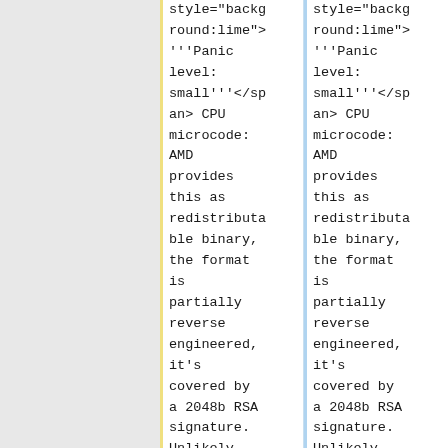style="background:lime"> '''Panic level: small'''</span> CPU microcode: AMD provides this as redistributable binary, the format is partially reverse engineered, it's covered by a 2048b RSA signature. Unlikely
style="background:lime"> '''Panic level: small'''</span> CPU microcode: AMD provides this as redistributable binary, the format is partially reverse engineered, it's covered by a 2048b RSA signature. Unlikely